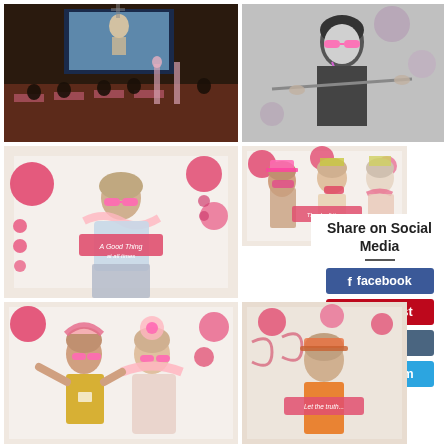[Figure (photo): Event photo: audience in a darkened room watching a presentation on a large screen, pink decorations on tables]
[Figure (photo): Black and white photo of a person holding a stick/sword wearing large pink glasses and a lanyard with pink/purple decorations in the background]
[Figure (photo): Person in costume wearing large pink glasses and a feather boa, holding a pink sign reading 'A Good Thing at all times', pink decorations on white backdrop]
[Figure (photo): Three people in costume with pink hats and accessories holding signs, pink decorations on white backdrop]
[Figure (photo): Two women laughing, wearing pink fun glasses and feather boas, pink decorations backdrop]
[Figure (photo): Person in orange shirt with pink accessories holding a sign, standing in front of pink decorated backdrop]
Share on Social Media
facebook
pinterest
email
telegram